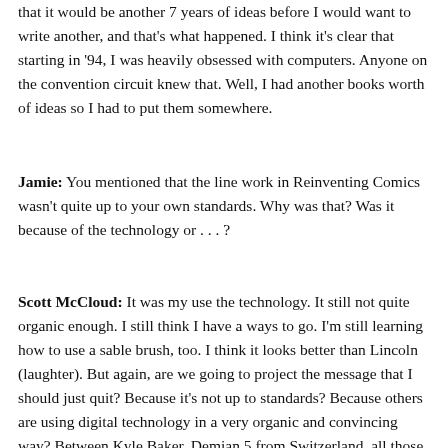that it would be another 7 years of ideas before I would want to write another, and that's what happened. I think it's clear that starting in '94, I was heavily obsessed with computers. Anyone on the convention circuit knew that. Well, I had another books worth of ideas so I had to put them somewhere.
Jamie: You mentioned that the line work in Reinventing Comics wasn't quite up to your own standards. Why was that? Was it because of the technology or . . . ?
Scott McCloud: It was my use the technology. It still not quite organic enough. I still think I have a ways to go. I'm still learning how to use a sable brush, too. I think it looks better than Lincoln (laughter). But again, are we going to project the message that I should just quit? Because it's not up to standards? Because others are using digital technology in a very organic and convincing way? Between Kyle Baker, Demian 5 from Switzerland, all those people have used it to